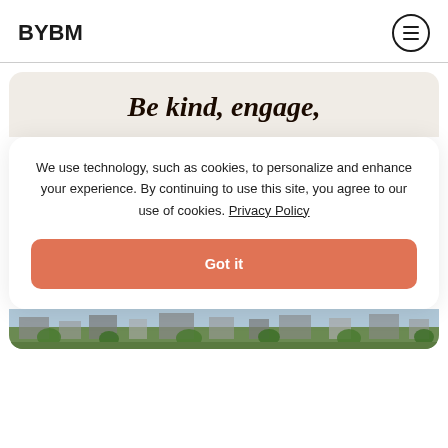BYBM
Be kind, engage,
We use technology, such as cookies, to personalize and enhance your experience. By continuing to use this site, you agree to our use of cookies. Privacy Policy
Got it
[Figure (photo): Outdoor scene with buildings and trees visible at the bottom]